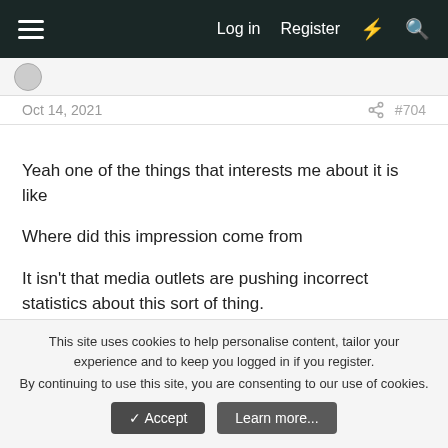Log in  Register
Oct 14, 2021  #704
Yeah one of the things that interests me about it is like

Where did this impression come from

It isn't that media outlets are pushing incorrect statistics about this sort of thing.

It's more insidious. About mood and implication than what is literally said
Leo
This site uses cookies to help personalise content, tailor your experience and to keep you logged in if you register.
By continuing to use this site, you are consenting to our use of cookies.